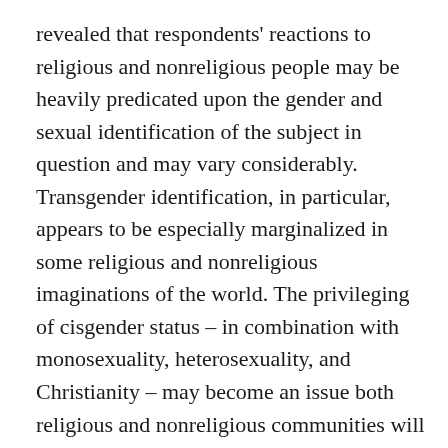revealed that respondents' reactions to religious and nonreligious people may be heavily predicated upon the gender and sexual identification of the subject in question and may vary considerably. Transgender identification, in particular, appears to be especially marginalized in some religious and nonreligious imaginations of the world. The privileging of cisgender status – in combination with monosexuality, heterosexuality, and Christianity – may become an issue both religious and nonreligious communities will have to wrestle with in the coming years. Although it may be tempting – and comforting for religious and nonreligious people – to assume concrete distinctions between these two worldviews, our findings suggest that while they may differ in some important ways